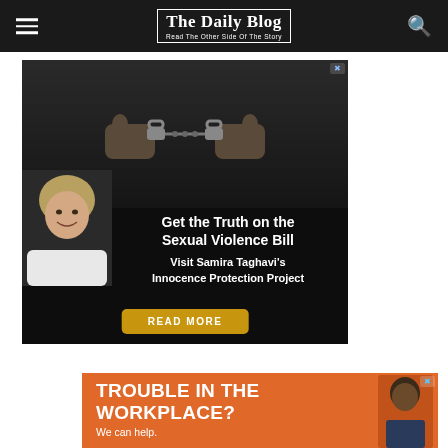The Daily Blog — Read The Other Side Of The Story
[Figure (photo): Advertisement: Black and white image of handcuffed wrists above, a smiling blonde woman at lower left. Text: 'Get the Truth on the Sexual Violence Bill — Visit Samira Taghavi's Innocence Protection Project' with a gold 'READ MORE' button.]
[Figure (photo): Advertisement with orange background: 'TROUBLE IN THE WORKPLACE? We can help.' with partial image of a man's head.]